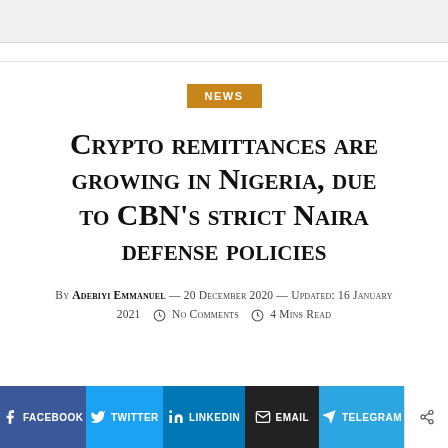NEWS
Crypto remittances are growing in Nigeria, due to CBN's strict Naira defense policies
By Adebiyi Emmanuel — 20 December 2020 — Updated: 16 January 2021   No Comments   4 Mins Read
[Figure (infographic): Social sharing bar with Facebook, Twitter, LinkedIn, Email, Telegram, and share buttons]